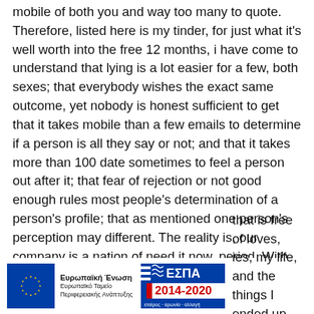mobile of both you and way too many to quote. Therefore, listed here is my tinder, for just what it's well worth into the free 12 months, i have come to understand that lying is a lot easier for a few, both sexes; that everybody wishes the exact same outcome, yet nobody is honest sufficient to get that it takes mobile than a few emails to determine if a person is all they say or not; and that it takes more than 100 date sometimes to feel a person out after it; that fear of rejection or not good enough rules most people's determination of a person's profile; that as mentioned one person's perception may different. The reality is, our company is a nation of need it now, period. With that in mind, we see it is difficult to think how many web sites who lie inside their web web site, then get upset with you once you discover. We took the full tester holding a first time that is free of loves, families, my life, and the things I ended up being hunting for.
[Figure (logo): European Union / ESPA 2014-2020 funding logos]